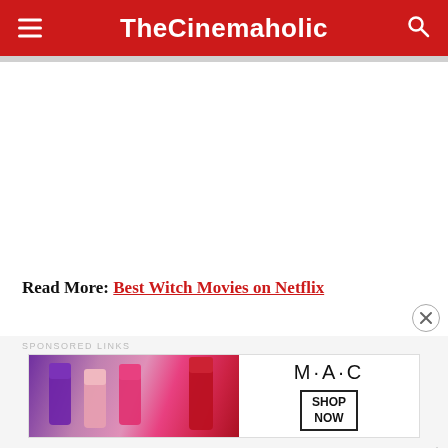TheCinemaholic
Read More: Best Witch Movies on Netflix
SPONSORED LINKS
[Figure (photo): MAC Cosmetics advertisement showing colorful lipsticks on the left and the MAC logo with a SHOP NOW button on the right]